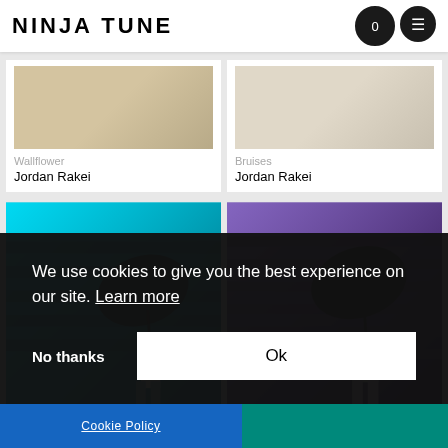NINJA TUNE
Wallflower
Jordan Rakei
Bruises
Jordan Rakei
[Figure (photo): Album cover with teal-tinted staircase image, child with umbrella walking up stairs, back view]
[Figure (photo): Album cover with purple-tinted staircase image, child with umbrella walking up stairs, back view]
We use cookies to give you the best experience on our site. Learn more
No thanks
Ok
Cookie Policy